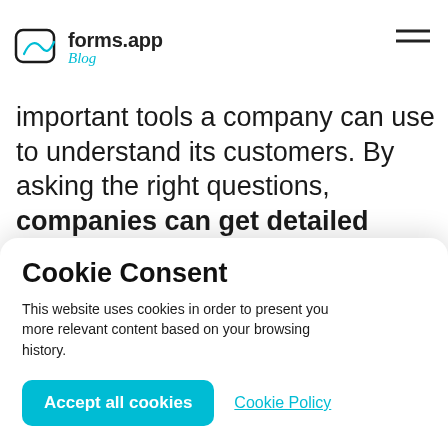forms.app Blog
important tools a company can use to understand its customers. By asking the right questions, companies can get detailed feedback about what their customers want
Cookie Consent
This website uses cookies in order to present you more relevant content based on your browsing history.
Accept all cookies
Cookie Policy